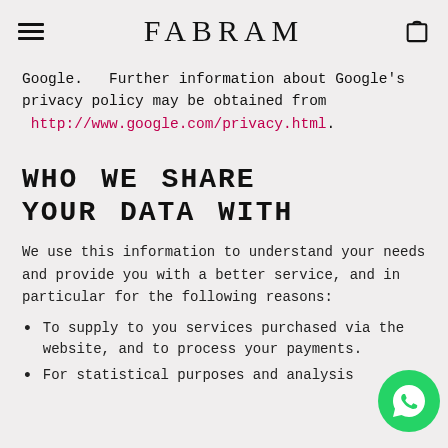FABRAM
Google.  Further information about Google's privacy policy may be obtained from http://www.google.com/privacy.html.
WHO WE SHARE YOUR DATA WITH
We use this information to understand your needs and provide you with a better service, and in particular for the following reasons:
To supply to you services purchased via the website, and to process your payments.
For statistical purposes and analysis